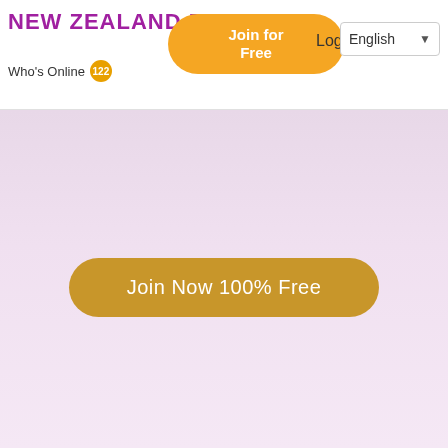NEW ZEALAND DATING
Who's Online 122
Join for Free
Login
English
Join Now 100% Free